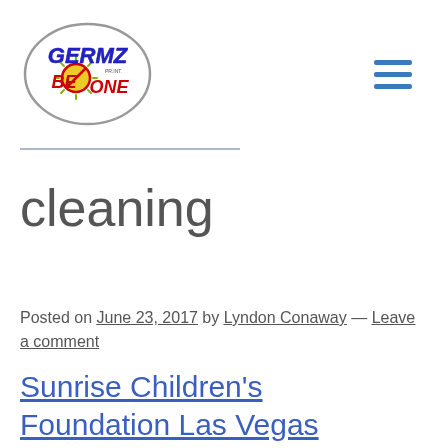[Figure (logo): Germz Be Gone logo — oval gray border containing blue italic text 'GERMZ' on top and red text 'BeGone' on bottom with a green sun/germ graphic and a red circle-slash symbol, 'PR.INT.' in small text]
cleaning
Posted on June 23, 2017 by Lyndon Conaway — Leave a comment
Sunrise Children's Foundation Las Vegas